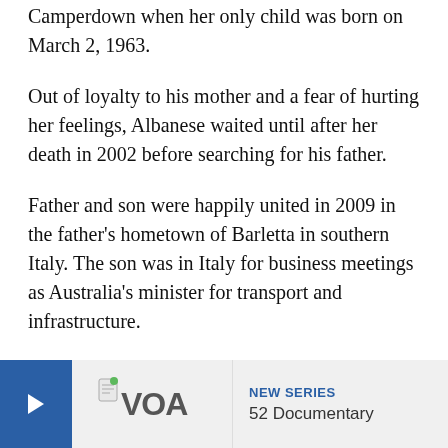Camperdown when her only child was born on March 2, 1963.
Out of loyalty to his mother and a fear of hurting her feelings, Albanese waited until after her death in 2002 before searching for his father.
Father and son were happily united in 2009 in the father's hometown of Barletta in southern Italy. The son was in Italy for business meetings as Australia's minister for transport and infrastructure.
Anthony Albanese was a minister throughout Labor's most recent six years in power and reached his highest office — deputy prime minister — in his government's [obscured] the 2013 electi[obscured]
But Albanese[obscured]
[Figure (infographic): VOA promotional banner overlay showing a blue arrow button, VOA logo, and text 'NEW SERIES 52 Documentary']